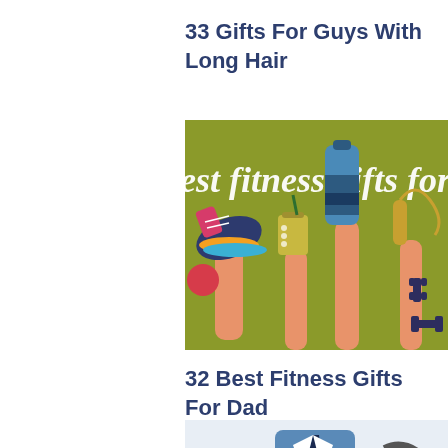33 Gifts For Guys With Long Hair
[Figure (illustration): Colorful illustration on olive/yellow-green background showing hands holding fitness items: sneaker, green smoothie cup, blue water bottle, jump rope. Text reads 'est fitness gifts for da' (partially cropped). Various fitness icons like dumbbells and a red ball also visible.]
32 Best Fitness Gifts For Dad
[Figure (illustration): Partially visible illustration showing a person in business attire with a tie, light blue/grey tones, cropped at bottom of page.]